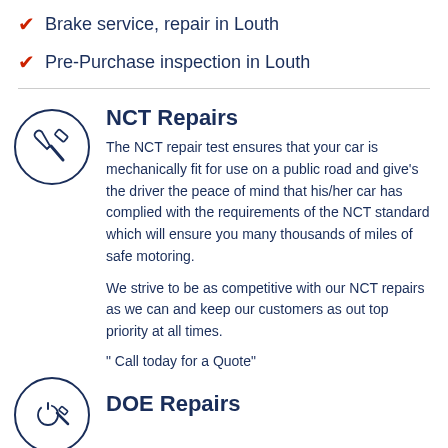Brake service, repair in Louth
Pre‑Purchase inspection in Louth
NCT Repairs
The NCT repair test ensures that your car is mechanically fit for use on a public road and give's the driver the peace of mind that his/her car has complied with the requirements of the NCT standard which will ensure you many thousands of miles of safe motoring.
We strive to be as competitive with our NCT repairs as we can and keep our customers as out top priority at all times.
" Call today for a Quote"
DOE Repairs